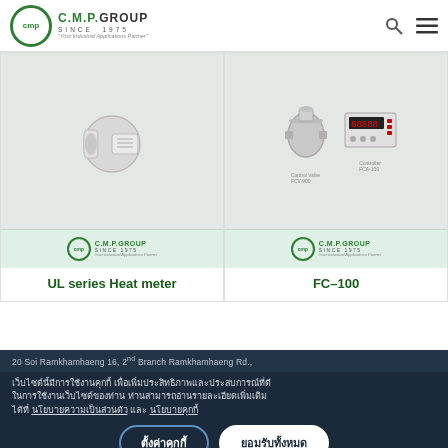C.M.P GROUP SINCE 1975 - Your Industrial Applications Partner
[Figure (photo): Product card: UL series Heat meter - industrial heat meter device image with CMP Group logo]
UL series Heat meter
[Figure (photo): Product card: FC-100 - control valve and controller device images with CMP Group logo]
FC-100
20 Soi Ramkhamhaeng 16, 2nd Branch Ramkhamhaeng Rd.,
เว็บไซต์นี้มีการใช้งานคุกกี้ เพื่อเพิ่มประสิทธิภาพและประสบการณ์ที่ดีในการใช้งานเว็บไซต์ของท่าน ท่านสามารถอ่านรายละเอียดเพิ่มเติมได้ที่ นโยบายความเป็นส่วนตัว และ นโยบายคุกกี้
ตั้งค่าคุกกี้
ยอมรับทั้งหมด